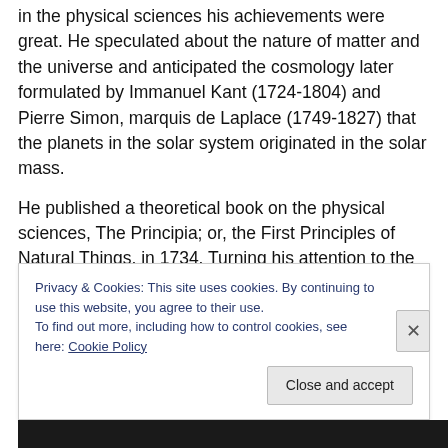in the physical sciences his achievements were great. He speculated about the nature of matter and the universe and anticipated the cosmology later formulated by Immanuel Kant (1724-1804) and Pierre Simon, marquis de Laplace (1749-1827) that the planets in the solar system originated in the solar mass.
He published a theoretical book on the physical sciences, The Principia; or, the First Principles of Natural Things, in 1734. Turning his attention to the human body, he studied its anatomy and physiology in an attempt to discover the seat of the soul. At one point he thought that the blood
Privacy & Cookies: This site uses cookies. By continuing to use this website, you agree to their use.
To find out more, including how to control cookies, see here: Cookie Policy